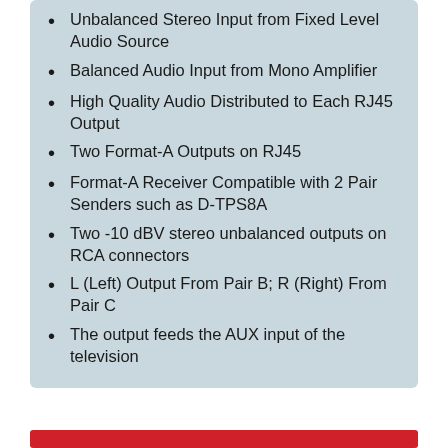Unbalanced Stereo Input from Fixed Level Audio Source
Balanced Audio Input from Mono Amplifier
High Quality Audio Distributed to Each RJ45 Output
Two Format-A Outputs on RJ45
Format-A Receiver Compatible with 2 Pair Senders such as D-TPS8A
Two -10 dBV stereo unbalanced outputs on RCA connectors
L (Left) Output From Pair B; R (Right) From Pair C
The output feeds the AUX input of the television